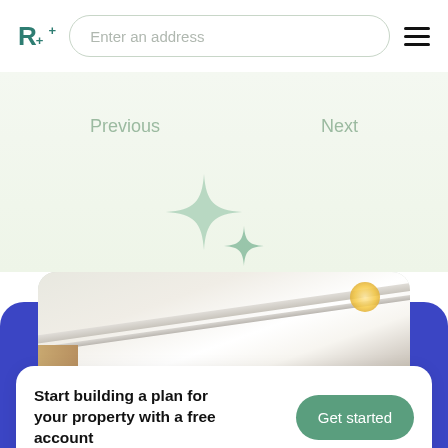[Figure (logo): R+ logo in teal/green color]
Enter an address
[Figure (illustration): Hamburger menu icon (three horizontal lines)]
Previous
Next
[Figure (illustration): Two sparkle/star shapes in teal green color on a light green background]
[Figure (photo): Interior room photo showing white ceiling with crown molding and a warm ceiling light fixture]
Start building a plan for your property with a free account
Get started